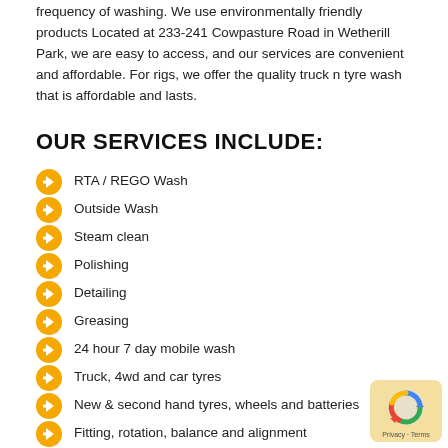frequency of washing. We use environmentally friendly products Located at 233-241 Cowpasture Road in Wetherill Park, we are easy to access, and our services are convenient and affordable. For rigs, we offer the quality truck n tyre wash that is affordable and lasts.
OUR SERVICES INCLUDE:
RTA / REGO Wash
Outside Wash
Steam clean
Polishing
Detailing
Greasing
24 hour 7 day mobile wash
Truck, 4wd and car tyres
New & second hand tyres, wheels and batteries
Fitting, rotation, balance and alignment
Truck retreads, regrooves and roadside service